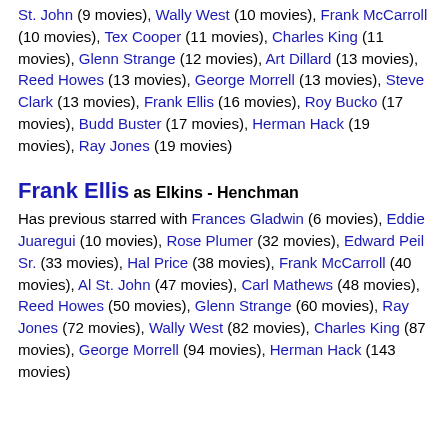St. John (9 movies), Wally West (10 movies), Frank McCarroll (10 movies), Tex Cooper (11 movies), Charles King (11 movies), Glenn Strange (12 movies), Art Dillard (13 movies), Reed Howes (13 movies), George Morrell (13 movies), Steve Clark (13 movies), Frank Ellis (16 movies), Roy Bucko (17 movies), Budd Buster (17 movies), Herman Hack (19 movies), Ray Jones (19 movies)
Frank Ellis as Elkins - Henchman
Has previous starred with Frances Gladwin (6 movies), Eddie Juaregui (10 movies), Rose Plumer (32 movies), Edward Peil Sr. (33 movies), Hal Price (38 movies), Frank McCarroll (40 movies), Al St. John (47 movies), Carl Mathews (48 movies), Reed Howes (50 movies), Glenn Strange (60 movies), Ray Jones (72 movies), Wally West (82 movies), Charles King (87 movies), George Morrell (94 movies), Herman Hack (143 movies)